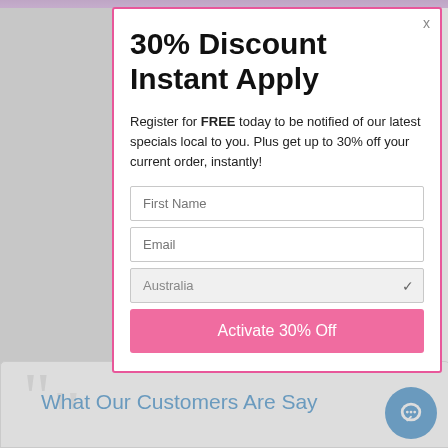30% Discount Instant Apply
Register for FREE today to be notified of our latest specials local to you. Plus get up to 30% off your current order, instantly!
First Name
Email
Australia
Activate 30% Off
What Our Customers Are Say